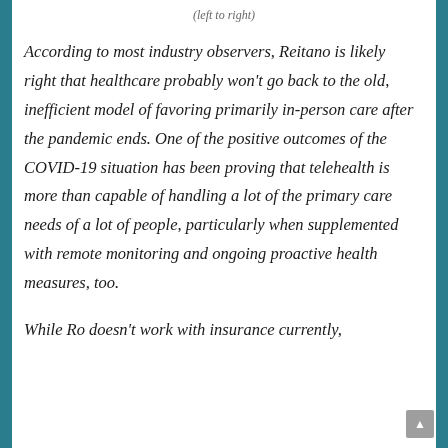(left to right)
According to most industry observers, Reitano is likely right that healthcare probably won't go back to the old, inefficient model of favoring primarily in-person care after the pandemic ends. One of the positive outcomes of the COVID-19 situation has been proving that telehealth is more than capable of handling a lot of the primary care needs of a lot of people, particularly when supplemented with remote monitoring and ongoing proactive health measures, too.
While Ro doesn't work with insurance currently,